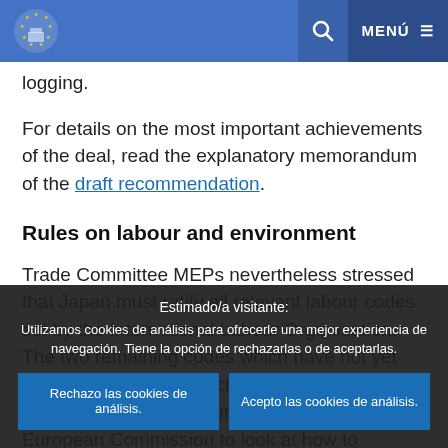European Parliament – MENÚ
logging.
For details on the most important achievements of the deal, read the explanatory memorandum of the draft recommendation.
Rules on labour and environment
Trade Committee MEPs nevertheless stressed that Japan must ratify all relevant labour codes set by the International Labour Organisation. The two remaining codes which have not yet been ratified are on discrimination and on the abolition of forced labour. They also urge the European Commission to look at how to enforce the agreed environmental and labour standards between the two parties agreed
Estimado/a visitante:
Utilizamos cookies de análisis para ofrecerle una mejor experiencia de navegación. Tiene la opción de rechazarlas o de aceptarlas.
Rechazo las cookies de análisis.   Acepto las cookies de análisis.